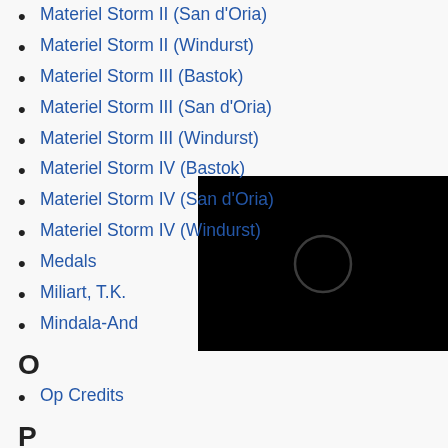Materiel Storm II (San d'Oria)
Materiel Storm II (Windurst)
Materiel Storm III (Bastok)
Materiel Storm III (San d'Oria)
Materiel Storm III (Windurst)
Materiel Storm IV (Bastok)
Materiel Storm IV (San d'Oria)
Materiel Storm IV (Windurst)
Medals
Miliart, T.K.
Mindala-And
O
Op Credits
P
Paralyzing Tube
Pit Spider I (Bastok)
Pit Spider I (San d'Oria)
Pit Spider I (Windurst)
Pit Spider II (Bastok)
Pit Spider II (San d'Oria)
[Figure (other): Black rectangle with a faint circle outline in the center, resembling a loading or video placeholder]